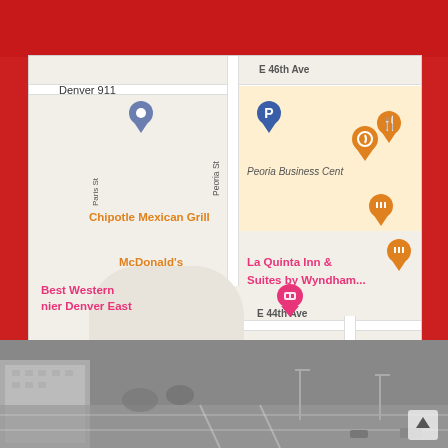[Figure (map): Google Maps screenshot showing Denver area near E 46th Ave and Peoria St / N Quentin St. Shows locations: Denver 911, Chipotle Mexican Grill, McDonald's, Best Western Premier Denver East, La Quinta Inn & Suites by Wyndham, Comfort Inn Denver East, 4 Wheel Parts - Off Road Truck & Jeep 4x4 Parts, Peoria Business Center, ION Solar. Street labels include E 46th Ave, E 44th Ave, Peoria St, Paris St, N Quentin St.]
[Figure (photo): Grayscale aerial/overhead photo of Denver city buildings and streets at the bottom of the page.]